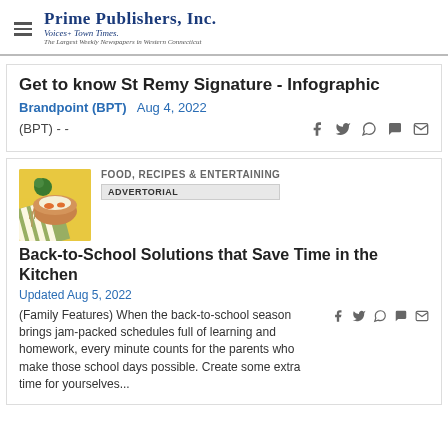Prime Publishers, Inc. Voices + Town Times. The Largest Weekly Newspapers in Western Connecticut
Get to know St Remy Signature - Infographic
Brandpoint (BPT)   Aug 4, 2022
(BPT) - -
FOOD, RECIPES & ENTERTAINING
ADVERTORIAL
[Figure (photo): Bowl of food with rice and vegetables on a yellow background with striped cloth]
Back-to-School Solutions that Save Time in the Kitchen
Updated Aug 5, 2022
(Family Features) When the back-to-school season brings jam-packed schedules full of learning and homework, every minute counts for the parents who make those school days possible. Create some extra time for yourselves...